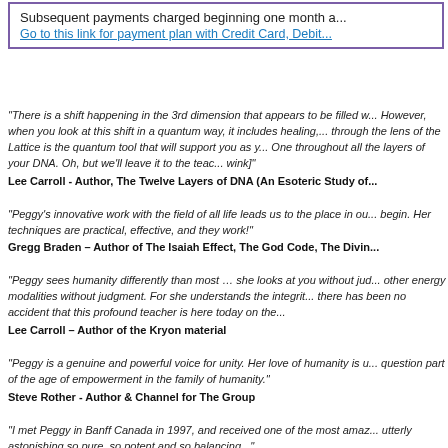Subsequent payments charged beginning one month a...
Go to this link for payment plan with Credit Card, Debit...
"There is a shift happening in the 3rd dimension that appears to be filled w... However, when you look at this shift in a quantum way, it includes healing, ... through the lens of the Lattice is the quantum tool that will support you as y... One throughout all the layers of your DNA. Oh, but we'll leave it to the teac... wink]"
Lee Carroll - Author, The Twelve Layers of DNA (An Esoteric Study of...
"Peggy’s innovative work with the field of all life leads us to the place in ou... begin. Her techniques are practical, effective, and they work!"
Gregg Braden – Author of The Isaiah Effect, The God Code, The Divin...
"Peggy sees humanity differently than most … she looks at you without jud... other energy modalities without judgment. For she understands the integrit... there has been no accident that this profound teacher is here today on the...
Lee Carroll – Author of the Kryon material
"Peggy is a genuine and powerful voice for unity. Her love of humanity is u... question part of the age of empowerment in the family of humanity."
Steve Rother - Author & Channel for The Group
"I met Peggy in Banff Canada in 1997, and received one of the most amaz... utterly astonishing,so pure, so potent and so balancing..."